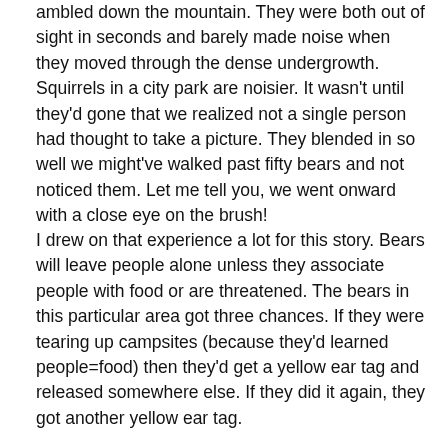ambled down the mountain. They were both out of sight in seconds and barely made noise when they moved through the dense undergrowth. Squirrels in a city park are noisier. It wasn't until they'd gone that we realized not a single person had thought to take a picture. They blended in so well we might've walked past fifty bears and not noticed them. Let me tell you, we went onward with a close eye on the brush!
I drew on that experience a lot for this story. Bears will leave people alone unless they associate people with food or are threatened. The bears in this particular area got three chances. If they were tearing up campsites (because they'd learned people=food) then they'd get a yellow ear tag and released somewhere else. If they did it again, they got another yellow ear tag.